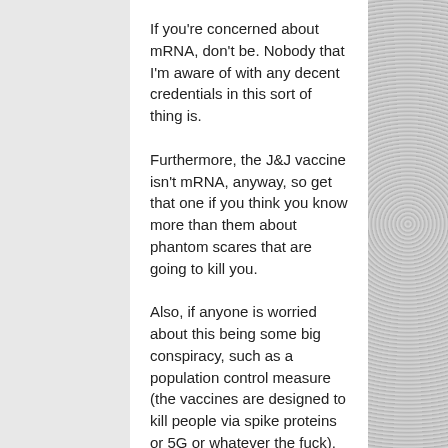If you're concerned about mRNA, don't be. Nobody that I'm aware of with any decent credentials in this sort of thing is.
Furthermore, the J&J vaccine isn't mRNA, anyway, so get that one if you think you know more than them about phantom scares that are going to kill you.
Also, if anyone is worried about this being some big conspiracy, such as a population control measure (the vaccines are designed to kill people via spike proteins or 5G or whatever the fuck), consider this:
The more people involved in a conspiracy, the less chance you have of it being successful. This is